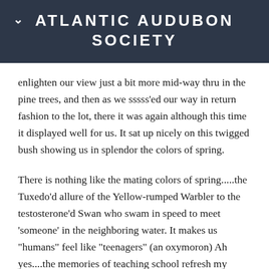ATLANTIC AUDUBON SOCIETY
enlighten our view just a bit more mid-way thru in the pine trees, and then as we sssss'ed our way in return fashion to the lot, there it was again although this time it displayed well for us. It sat up nicely on this twigged bush showing us in splendor the colors of spring.
There is nothing like the mating colors of spring.....the Tuxedo'd allure of the Yellow-rumped Warbler to the testosterone'd Swan who swam in speed to meet 'someone' in the neighboring water. It makes us "humans" feel like "teenagers" (an oxymoron) Ah yes....the memories of teaching school refresh my mind casually and soon disappear, for there is no reason to bring up